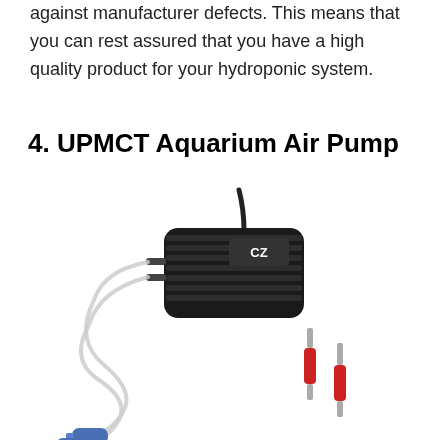against manufacturer defects. This means that you can rest assured that you have a high quality product for your hydroponic system.
4. UPMCT Aquarium Air Pump
[Figure (photo): UPMCT aquarium air pump, a black rectangular dual-outlet air pump with ridged casing and power cord, connected to two clear air tubes with blue cylindrical air stones at the ends, and two red check valves shown separately to the right.]